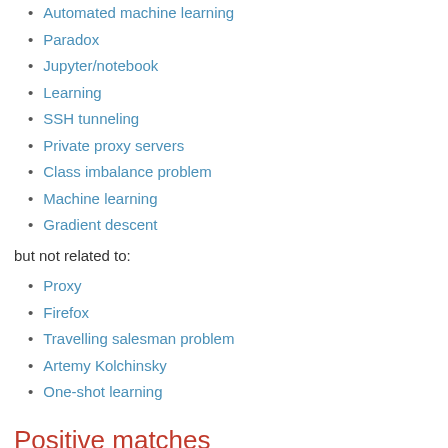Automated machine learning
Paradox
Jupyter/notebook
Learning
SSH tunneling
Private proxy servers
Class imbalance problem
Machine learning
Gradient descent
but not related to:
Proxy
Firefox
Travelling salesman problem
Artemy Kolchinsky
One-shot learning
Positive matches
[Figure (screenshot): Bottom UI bar with triangle arrow, bullet, a blue-grey input box, plus and minus buttons, and a dashed-border label reading 'Class imbalance']